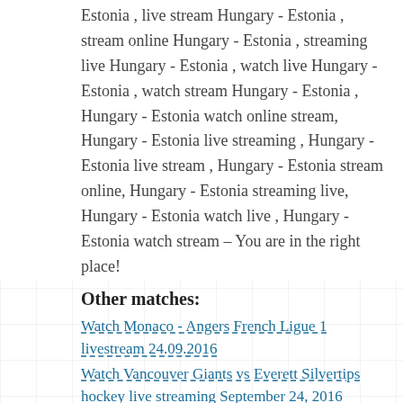Estonia , live stream Hungary - Estonia , stream online Hungary - Estonia , streaming live Hungary - Estonia , watch live Hungary - Estonia , watch stream Hungary - Estonia , Hungary - Estonia watch online stream, Hungary - Estonia live streaming , Hungary - Estonia live stream , Hungary - Estonia stream online, Hungary - Estonia streaming live, Hungary - Estonia watch live , Hungary - Estonia watch stream – You are in the right place!
Other matches:
Watch Monaco - Angers French Ligue 1 livestream 24.09.2016
Watch Vancouver Giants vs Everett Silvertips hockey live streaming September 24, 2016
Watch live Heidenheim - Kaiserslautern 24.09.2016
Watch Parma vs AlbinoLeffe Italian Lega Pro Group B live stream
Loading [MathJax]/extensions/jsMath2jax.js